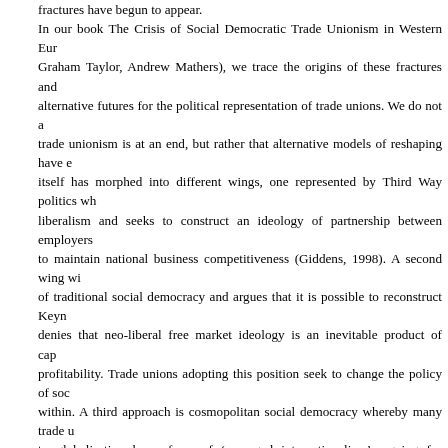fractures have begun to appear. In our book The Crisis of Social Democratic Trade Unionism in Western Europe (Graham Taylor, Andrew Mathers), we trace the origins of these fractures and alternative futures for the political representation of trade unions. We do not argue that trade unionism is at an end, but rather that alternative models of reshaping have emerged. Social democracy itself has morphed into different wings, one represented by Third Way politics which embraces neo-liberalism and seeks to construct an ideology of partnership between employers and trade unions to maintain national business competitiveness (Giddens, 1998). A second wing which is more critical of traditional social democracy and argues that it is possible to reconstruct Keynesianism and denies that neo-liberal free market ideology is an inevitable product of capitalist drives for profitability. Trade unions adopting this position seek to change the policy of social democracy from within. A third approach is cosmopolitan social democracy whereby many trade unions have responded to globalisation by a form of 'managed internationalism' arguing for 'Decent Work' campaigns through the International Labour Organisation and even the arch agents of neo-liberal policy such as the World Bank and IMF. Our alternative model of radical political unionism, however, identifies a break with social democratic unionism and a focus on active agendas which seek to oppose neo-liberalism, encourage social movement activity at grass roots level, and encourage the use of more innovative forms of rank and file controlled trade union action. This model is also associated with alignment of trade unions with parties and movements to the left of the social democratic parties. The model mobilises workers at the expense of 'national business interest'. The degree of fracture in each country varies. In Britain there has long been 'formal' links between the Labour Party and the unions, with unions donating yearly up to 60% of the party's income.